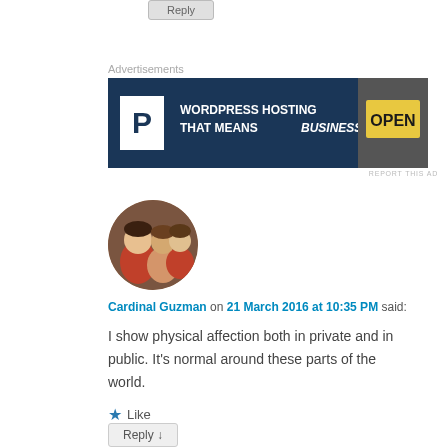[Figure (other): Reply button at top of page (partially cropped)]
Advertisements
[Figure (other): WordPress Hosting advertisement banner: dark blue background with white P logo, text 'WORDPRESS HOSTING THAT MEANS BUSINESS.' and an OPEN sign photo on the right]
REPORT THIS AD
[Figure (photo): Circular avatar photo of three children smiling]
Cardinal Guzman on 21 March 2016 at 10:35 PM said:
I show physical affection both in private and in public. It's normal around these parts of the world.
★ Like
Reply ↓